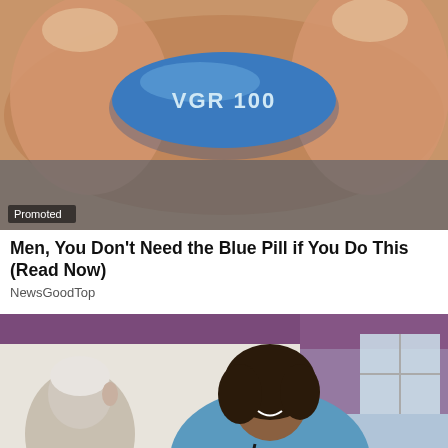[Figure (photo): Close-up photo of fingers holding a blue oval pill stamped with VGR 100, with a 'Promoted' badge overlay in the bottom-left corner.]
Men, You Don't Need the Blue Pill if You Do This (Read Now)
NewsGoodTop
[Figure (photo): Photo of a smiling young female nurse in blue scrubs with a stethoscope, talking to an elderly white-haired patient. Purple curtain and window in background.]